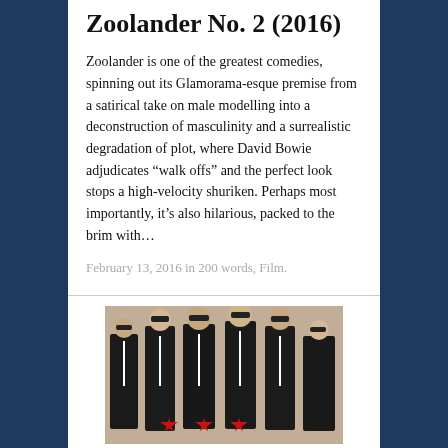Zoolander No. 2 (2016)
Zoolander is one of the greatest comedies, spinning out its Glamorama-esque premise from a satirical take on male modelling into a deconstruction of masculinity and a surrealistic degradation of plot, where David Bowie adjudicates “walk offs” and the perfect look stops a high-velocity shuriken. Perhaps most importantly, it’s also hilarious, packed to the brim with…
February 13, 2016 in 200 words, Film.
[Figure (photo): Group photo of several men dressed in black suits and sunglasses, with red stars visible at the bottom of the image.]